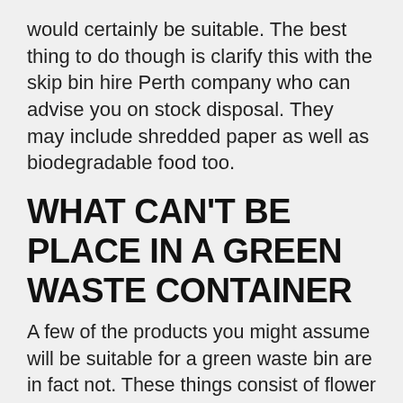would certainly be suitable. The best thing to do though is clarify this with the skip bin hire Perth company who can advise you on stock disposal. They may include shredded paper as well as biodegradable food too.
WHAT CAN'T BE PLACE IN A GREEN WASTE CONTAINER
A few of the products you might assume will be suitable for a green waste bin are in fact not. These things consist of flower pots, stone, specific sorts of treated timber, patio area block and also concrete. Although these are an obvious part of the garden clearance project, they are not actually not biodegradable for the most part. However they can be reused right into other things, resold or sent to an industrial plant for reusing. To stay clear of putting these products in the bin, take a couple of minutes to review your task. Examine what